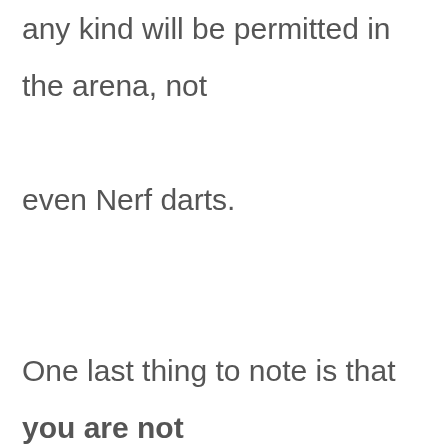any kind will be permitted in the arena, not even Nerf darts. One last thing to note is that you are not permitted to wear any sort of face coverings in the gaming/gambling areas of the Mohegan Sun — that's both masks and makeup.